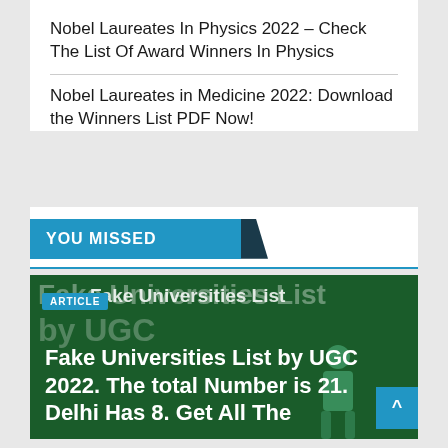Nobel Laureates In Physics 2022 – Check The List Of Award Winners In Physics
Nobel Laureates in Medicine 2022: Download the Winners List PDF Now!
YOU MISSED
[Figure (illustration): Fake Universities List article thumbnail with green background and figure illustration]
ARTICLE
Fake Universities List by UGC 2022. The total Number is 21. Delhi Has 8. Get All The